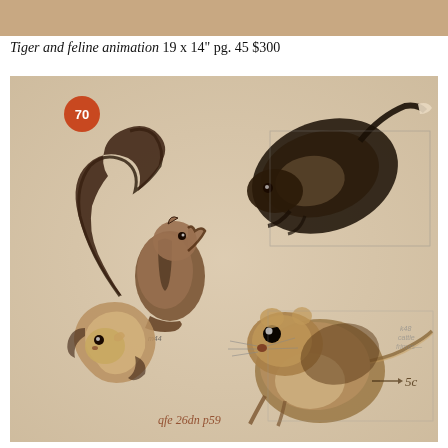Tiger and feline animation 19 x 14" pg. 45 $300
[Figure (illustration): Pencil/charcoal illustration on cream/beige paper showing four animal sketches: top-left a squirrel or chipmunk standing upright with bushy tail; top-right a dark feline or rodent crouching viewed from above; bottom-left a curled-up mouse or hamster viewed from above; bottom-right a large detailed mouse/rat crouching facing viewer with long tail. Orange circular sticker labeled '70' in top-left corner. Handwritten annotations including '50' on right side and 'qfe 26dn p59' at bottom center in red/pencil.]